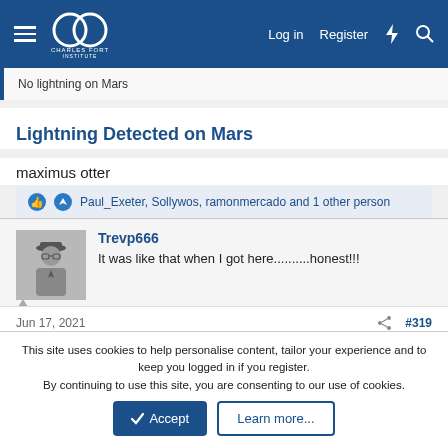Charles Fort Institute — Log in | Register
No lightning on Mars
Lightning Detected on Mars
maximus otter
Paul_Exeter, Sollywos, ramonmercado and 1 other person
Trevp666 — It was like that when I got here..........honest!!!
Jun 17, 2021  #319
This site uses cookies to help personalise content, tailor your experience and to keep you logged in if you register.
By continuing to use this site, you are consenting to our use of cookies.